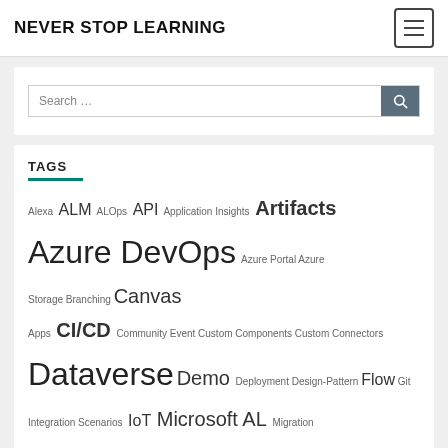NEVER STOP LEARNING
Search …
TAGS
Alexa ALM ALOps API Application Insights Artifacts Azure DevOps Azure Portal Azure Storage Branching Canvas Apps CI/CD Community Event Custom Components Custom Connectors Dataverse Demo Deployment Design-Pattern Flow Git Integration Scenarios IoT Microsoft AL Migration MSDyn365BC